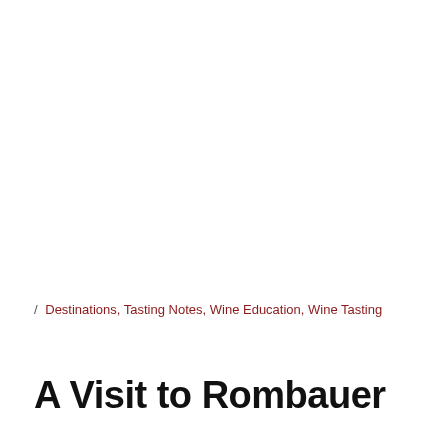/ Destinations, Tasting Notes, Wine Education, Wine Tasting
A Visit to Rombauer